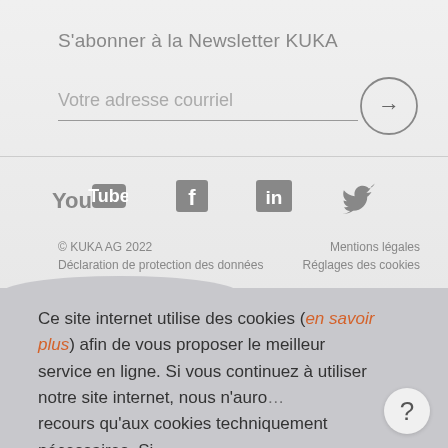S'abonner à la Newsletter KUKA
Votre adresse courriel
[Figure (infographic): Social media icons: YouTube, Facebook, LinkedIn, Twitter (grey colored)]
© KUKA AG 2022
Déclaration de protection des données
Mentions légales
Réglages des cookies
Ce site internet utilise des cookies (en savoir plus) afin de vous proposer le meilleur service en ligne. Si vous continuez à utiliser notre site internet, nous n'aurons recours qu'aux cookies techniquement nécessaires. Si